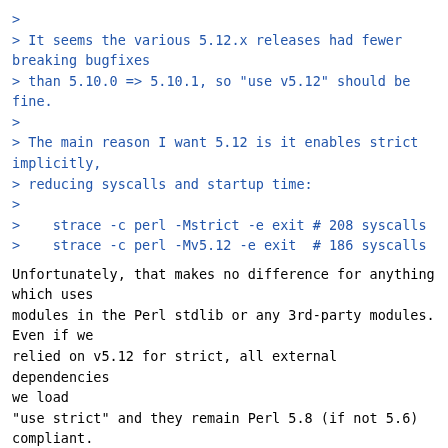> 
> It seems the various 5.12.x releases had fewer breaking bugfixes
> than 5.10.0 => 5.10.1, so "use v5.12" should be fine.
>
> The main reason I want 5.12 is it enables strict implicitly,
> reducing syscalls and startup time:
>
>    strace -c perl -Mstrict -e exit # 208 syscalls
>    strace -c perl -Mv5.12 -e exit  # 186 syscalls
Unfortunately, that makes no difference for anything which uses
modules in the Perl stdlib or any 3rd-party modules. Even if we
relied on v5.12 for strict, all external dependencies we load
"use strict" and they remain Perl 5.8 (if not 5.6) compliant.
> It also allows "delete local" and some other things, but
That's nice, as is //a for ASCII-only matches.
> I'm not yet sure about the "unicode_strings" feature bit...
This requires much care on our part, unfortunately.